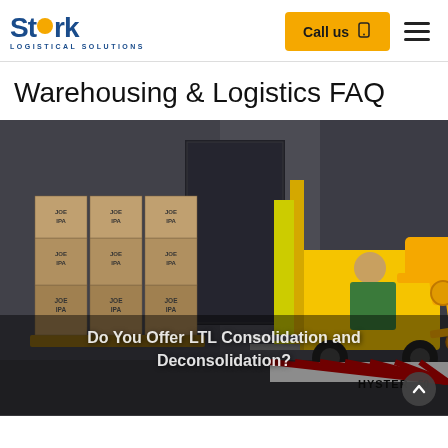Stork Logistical Solutions — Call us — Navigation menu
Warehousing & Logistics FAQ
[Figure (photo): Warehouse scene with a yellow Hyster 50 forklift operated by a worker in a high-visibility shirt, moving stacked pallets of boxed goods labeled 'JOE IPA'. An orange hand-truck/dolly icon is overlaid in the foreground. The image is overlaid with the text 'Do You Offer LTL Consolidation and Deconsolidation?']
Do You Offer LTL Consolidation and Deconsolidation?